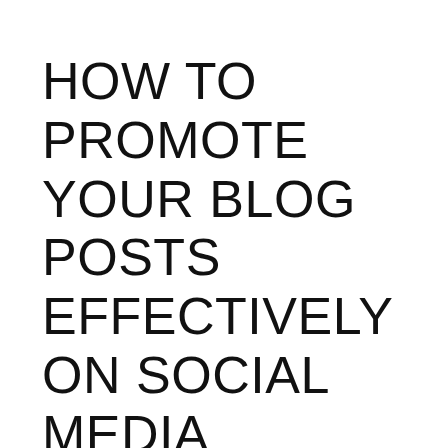HOW TO PROMOTE YOUR BLOG POSTS EFFECTIVELY ON SOCIAL MEDIA (CHECKLIST)